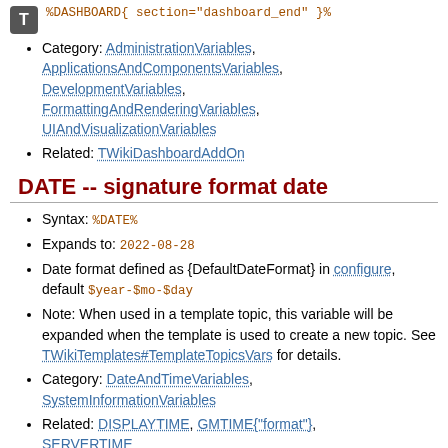[Figure (other): Small gray T icon/button]
%DASHBOARD{ section="dashboard_end" }%
Category: AdministrationVariables, ApplicationsAndComponentsVariables, DevelopmentVariables, FormattingAndRenderingVariables, UIAndVisualizationVariables
Related: TWikiDashboardAddOn
DATE -- signature format date
Syntax: %DATE%
Expands to: 2022-08-28
Date format defined as {DefaultDateFormat} in configure, default $year-$mo-$day
Note: When used in a template topic, this variable will be expanded when the template is used to create a new topic. See TWikiTemplates#TemplateTopicsVars for details.
Category: DateAndTimeVariables, SystemInformationVariables
Related: DISPLAYTIME, GMTIME{"format"}, SERVERTIME